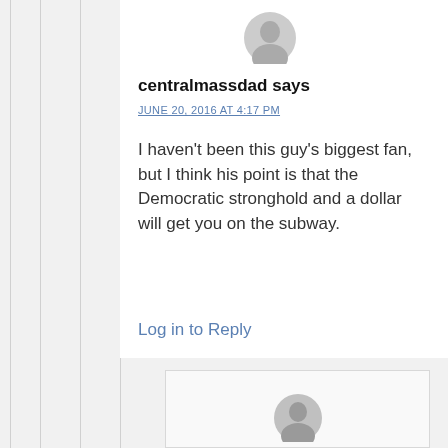[Figure (illustration): Gray silhouette avatar icon for commenter]
centralmassdad says
JUNE 20, 2016 AT 4:17 PM
I haven't been this guy's biggest fan, but I think his point is that the Democratic stronghold and a dollar will get you on the subway.
Log in to Reply
[Figure (illustration): Gray silhouette avatar icon for nested commenter]